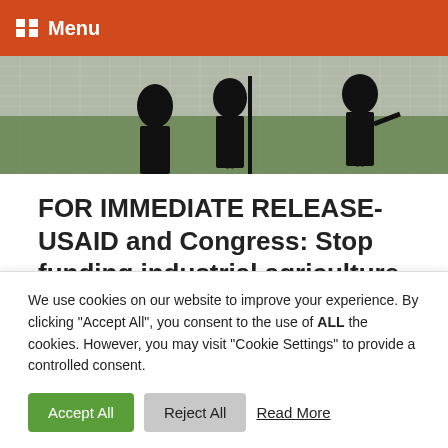Menu
[Figure (photo): Two silhouetted figures working in an agricultural field with netting overhead and green plants visible]
FOR IMMEDIATE RELEASE-USAID and Congress: Stop funding industrial agriculture in Africa
Posted on August 30, 2022
For immediate release: August 30, 2022 Contact: Ashley
We use cookies on our website to improve your experience. By clicking "Accept All", you consent to the use of ALL the cookies. However, you may visit "Cookie Settings" to provide a controlled consent.